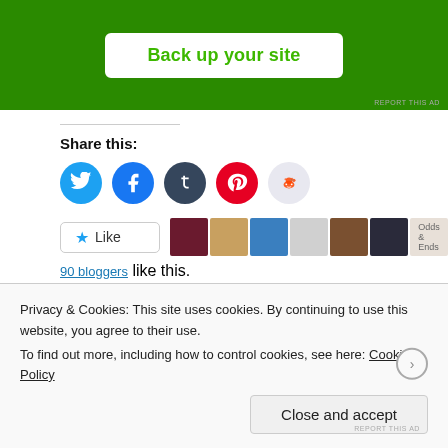[Figure (screenshot): Green advertisement banner with 'Back up your site' button in white rounded rectangle with green text. 'REPORT THIS AD' text in bottom right corner.]
Share this:
[Figure (infographic): Social media sharing icons: Twitter (blue), Facebook (blue), Tumblr (dark), Pinterest (red), Reddit (light gray)]
[Figure (infographic): Like button with star icon and avatar strip showing 90 bloggers who liked this post]
90 bloggers like this.
Related
[Figure (screenshot): Partial related content thumbnails]
Privacy & Cookies: This site uses cookies. By continuing to use this website, you agree to their use.
To find out more, including how to control cookies, see here: Cookie Policy
Close and accept